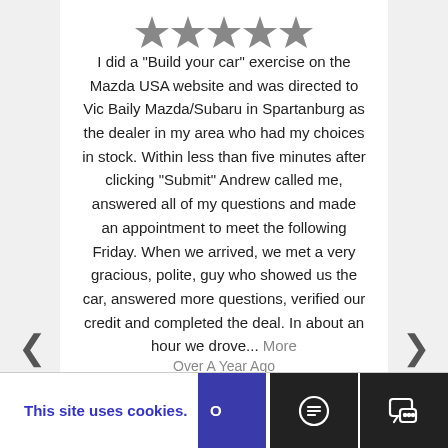[Figure (other): Five grey star rating icons]
I did a "Build your car" exercise on the Mazda USA website and was directed to Vic Baily Mazda/Subaru in Spartanburg as the dealer in my area who had my choices in stock. Within less than five minutes after clicking "Submit" Andrew called me, answered all of my questions and made an appointment to meet the following Friday. When we arrived, we met a very gracious, polite, guy who showed us the car, answered more questions, verified our credit and completed the deal. In about an hour we drove... More
Over A Year Ago
This site uses cookies.